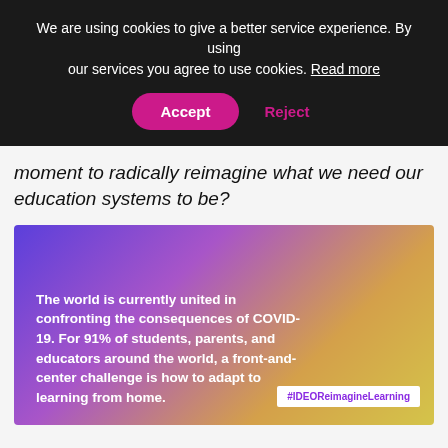We are using cookies to give a better service experience. By using our services you agree to use cookies. Read more
Accept | Reject
moment to radically reimagine what we need our education systems to be?
[Figure (infographic): A gradient banner image transitioning from purple/blue on the left to yellow/gold on the right, containing bold white text: 'The world is currently united in confronting the consequences of COVID-19. For 91% of students, parents, and educators around the world, a front-and-center challenge is how to adapt to learning from home.' with a white hashtag box '#IDEOReimagineLearning' in the bottom right corner.]